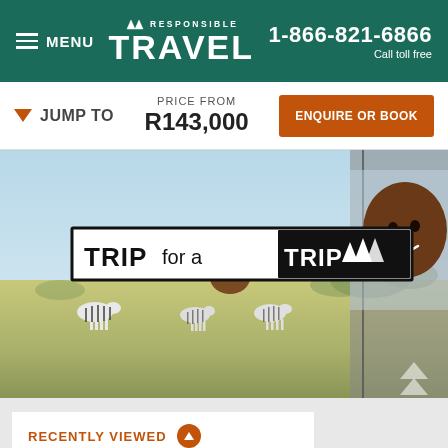MENU | RESPONSIBLE TRAVEL | 1-866-821-6866 Call toll free
JUMP TO | PRICE FROM R143,000 | ENQUIRE OR BOOK
[Figure (photo): A child leaning out of a vehicle window, smiling and waving, with zebras visible in the savanna background. Overlay logo reads TRIP for a TRIP with mountain icons.]
RECENTLY VIEWED